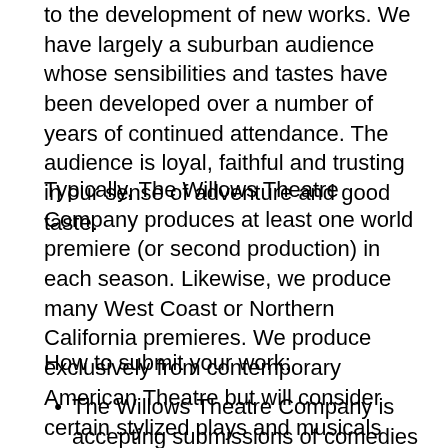to the development of new works. We have largely a suburban audience whose sensibilities and tastes have been developed over a number of years of continued attendance. The audience is loyal, faithful and trusting in our sense of adventure and good taste.
Typically, The Willows Theatre Company produces at least one world premiere (or second production) in each season. Likewise, we produce many West Coast or Northern California premieres. We produce exclusively from contemporary American Theatre but will consider certain stylized plays and musicals which have a contemporary edge to them.
How to submit your work:
The Willows Theatre Company is accepting submissions of comedies ONLY. We are not looking for dramas or musicals at this time. We